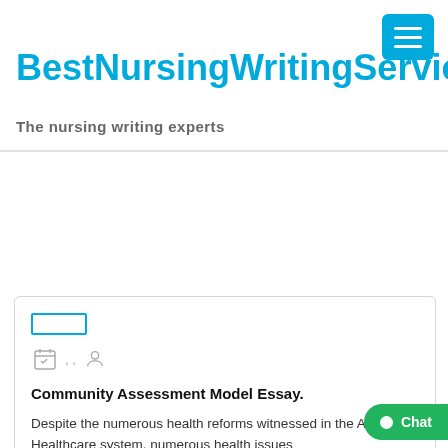BestNursingWritingService
The nursing writing experts
[Figure (screenshot): Blue hamburger menu button in top right corner]
[Figure (other): Blue tag/category label bar]
[Figure (other): Calendar icon and person/user icon metadata row]
Community Assessment Model Essay.
Despite the numerous health reforms witnessed in the American Healthcare system, numerous health issues
[Figure (other): Green chat button in bottom right]